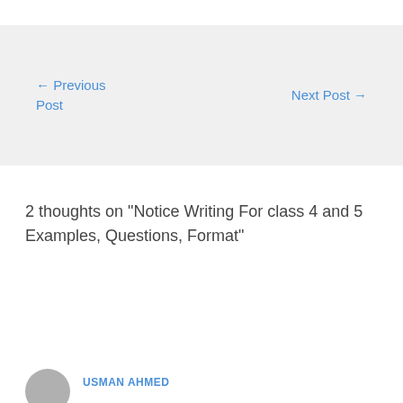← Previous Post
Next Post →
2 thoughts on “Notice Writing For class 4 and 5 Examples, Questions, Format”
USMAN AHMED